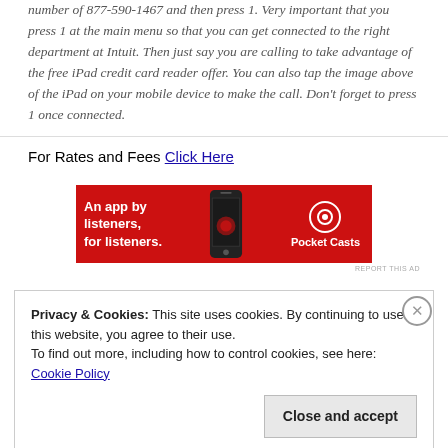number of 877-590-1467 and then press 1. Very important that you press 1 at the main menu so that you can get connected to the right department at Intuit. Then just say you are calling to take advantage of the free iPad credit card reader offer. You can also tap the image above of the iPad on your mobile device to make the call. Don't forget to press 1 once connected.
For Rates and Fees Click Here
[Figure (illustration): Red Pocket Casts advertisement banner: 'An app by listeners, for listeners.' with phone image and Pocket Casts logo]
REPORT THIS AD
Privacy & Cookies: This site uses cookies. By continuing to use this website, you agree to their use.
To find out more, including how to control cookies, see here: Cookie Policy
Close and accept